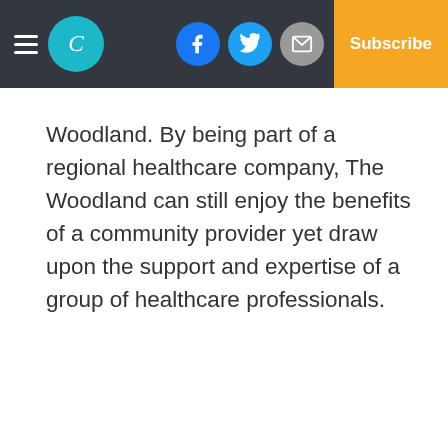Navigation header with logo, social icons (Facebook, Twitter, Email), and Subscribe button
Woodland. By being part of a regional healthcare company, The Woodland can still enjoy the benefits of a community provider yet draw upon the support and expertise of a group of healthcare professionals.